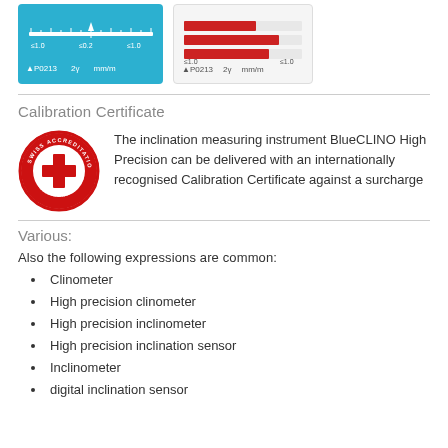[Figure (illustration): Two instrument display images: left shows an analog scale bar in blue, right shows a red bar graph display, both labeled AP0213 2γ mm/m]
Calibration Certificate
[Figure (logo): Swiss Accreditation circular badge with red cross and text 'SWISS ACCREDITATION' and 'SCS 0044']
The inclination measuring instrument BlueCLINO High Precision can be delivered with an internationally recognised Calibration Certificate against a surcharge
Various:
Also the following expressions are common:
Clinometer
High precision clinometer
High precision inclinometer
High precision inclination sensor
Inclinometer
digital inclination sensor